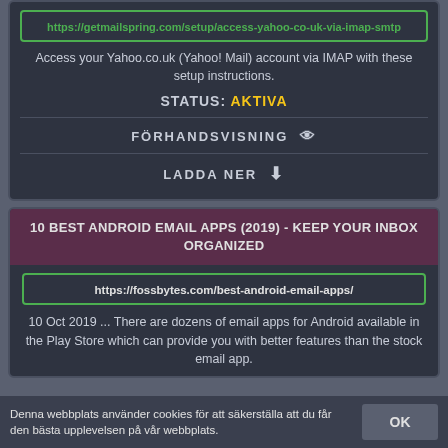https://getmailspring.com/setup/access-yahoo-co-uk-via-imap-smtp
Access your Yahoo.co.uk (Yahoo! Mail) account via IMAP with these setup instructions.
STATUS: AKTIVA
FÖRHANDSVISNING
LADDA NER
10 BEST ANDROID EMAIL APPS (2019) - KEEP YOUR INBOX ORGANIZED
https://fossbytes.com/best-android-email-apps/
10 Oct 2019 ... There are dozens of email apps for Android available in the Play Store which can provide you with better features than the stock email app.
Denna webbplats använder cookies för att säkerställa att du får den bästa upplevelsen på vår webbplats.